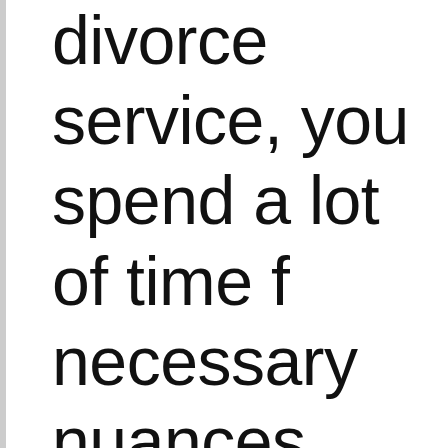divorce service, you spend a lot of time f necessary nuances paperwork. The divo be confusing, but w of such a platform, y the forms needed fo online. So how do o companies work? N